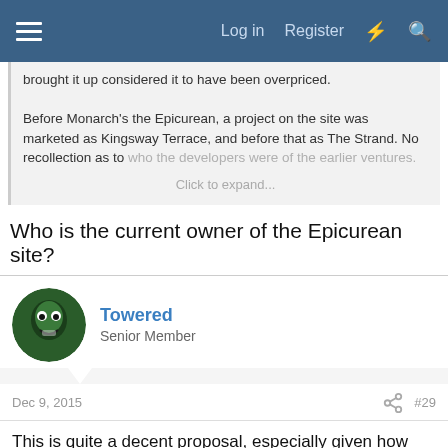Log in  Register
brought it up considered it to have been overpriced.

Before Monarch's the Epicurean, a project on the site was marketed as Kingsway Terrace, and before that as The Strand. No recollection as to who the developers were of the earlier ventures.

Click to expand...
Who is the current owner of the Epicurean site?
Towered
Senior Member
Dec 9, 2015  #29
This is quite a decent proposal, especially given how heavily the neighbourhood leans towards faux historic. I hope it get built as is. I also hope that this entire stretch of Dundas will go mid-rise, replacing all the awful car-oriented plazas with a pretty, walkable